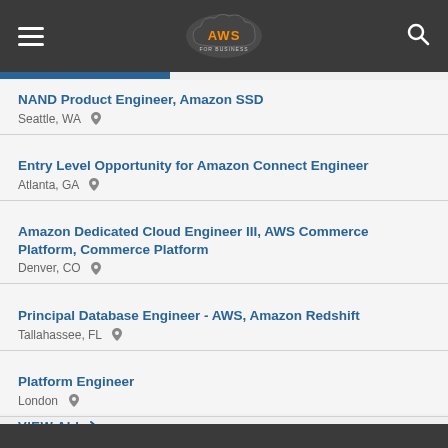AWS For Business - navigation header with logo and search
NAND Product Engineer, Amazon SSD
Seattle, WA
Entry Level Opportunity for Amazon Connect Engineer
Atlanta, GA
Amazon Dedicated Cloud Engineer III, AWS Commerce Platform, Commerce Platform
Denver, CO
Principal Database Engineer - AWS, Amazon Redshift
Tallahassee, FL
Platform Engineer
London
VIEW ALL >